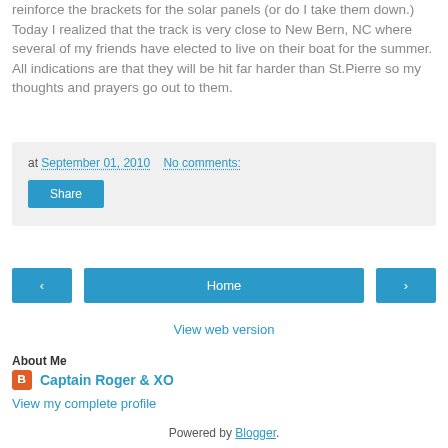reinforce the brackets for the solar panels (or do I take them down.)  Today I realized that the track is very close to New Bern, NC where several of my friends have elected to live on their boat for the summer.  All indications are that they will be hit far harder than St.Pierre so my thoughts and prayers go out to them.
at September 01, 2010   No comments:
Share
‹
Home
›
View web version
About Me
Captain Roger & XO
View my complete profile
Powered by Blogger.